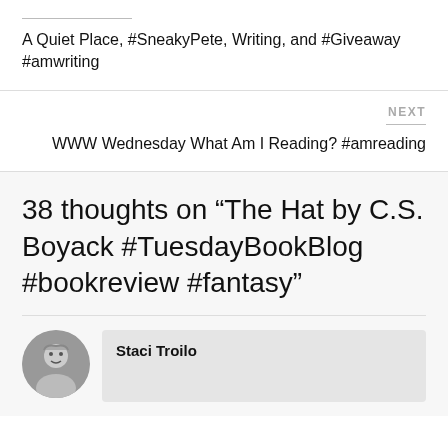A Quiet Place, #SneakyPete, Writing, and #Giveaway #amwriting
NEXT
WWW Wednesday What Am I Reading? #amreading
38 thoughts on “The Hat by C.S. Boyack #TuesdayBookBlog #bookreview #fantasy”
Staci Troilo